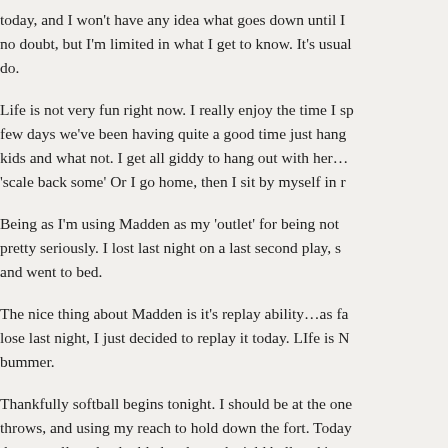today, and I won't have any idea what goes down until I no doubt, but I'm limited in what I get to know. It's usual do.
Life is not very fun right now. I really enjoy the time I sp few days we've been having quite a good time just hang kids and what not. I get all giddy to hang out with her… 'scale back some' Or I go home, then I sit by myself in r
Being as I'm using Madden as my 'outlet' for being not pretty seriously. I lost last night on a last second play, s and went to bed.
The nice thing about Madden is it's replay ability…as fa lose last night, I just decided to replay it today. LIfe is N bummer.
Thankfully softball begins tonight. I should be at the one throws, and using my reach to hold down the fort. Today day as well, and a double header at the 'old ball park' w could see my mind wandering, and taking a line drive o for me the past couple years has turned into a season c